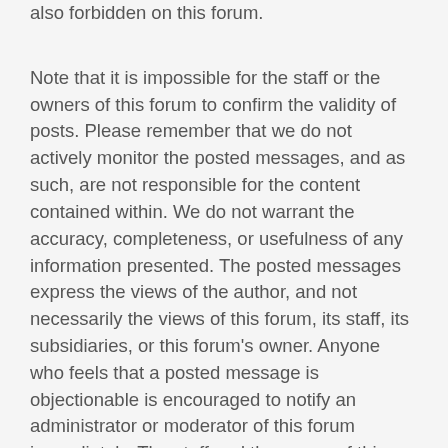also forbidden on this forum.
Note that it is impossible for the staff or the owners of this forum to confirm the validity of posts. Please remember that we do not actively monitor the posted messages, and as such, are not responsible for the content contained within. We do not warrant the accuracy, completeness, or usefulness of any information presented. The posted messages express the views of the author, and not necessarily the views of this forum, its staff, its subsidiaries, or this forum's owner. Anyone who feels that a posted message is objectionable is encouraged to notify an administrator or moderator of this forum immediately. The staff and the owner of this forum reserve the right to remove objectionable content, within a reasonable time frame, if they determine that removal is necessary. This is a manual process, however, please realize that they may not be able to remove or edit particular messages